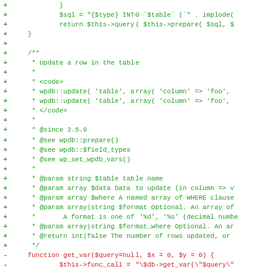[Figure (screenshot): A code diff view showing PHP code. Lines with '+' markers in green show added lines including a docblock comment for a 'Update a row in the table' function and a new 'update' function. Lines with '-' markers in red show removed lines including a 'get_var' function signature and a func_call assignment.]